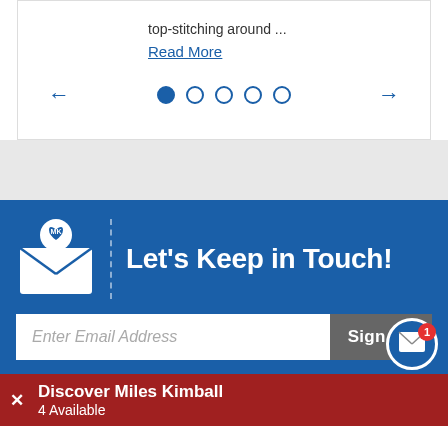top-stitching around ...
Read More
[Figure (other): Carousel navigation with left arrow, 5 pagination dots (first filled), and right arrow]
[Figure (infographic): Blue newsletter signup section with MK envelope icon, dashed divider, 'Let's Keep in Touch!' heading, email input field, and Sign Up button; notification bubble with envelope icon and badge showing 1]
Let's Keep in Touch!
Enter Email Address
Sign Up
1
Discover Miles Kimball
4 Available